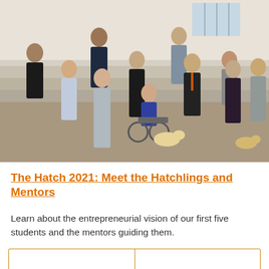[Figure (photo): Group photo of approximately 11 people (students and mentors) posed on steps inside a modern building. One person is in a wheelchair with a service dog. Another person holds a dog on a leash. People are dressed in professional/business attire.]
The Hatch 2021: Meet the Hatchlings and Mentors
Learn about the entrepreneurial vision of our first five students and the mentors guiding them.